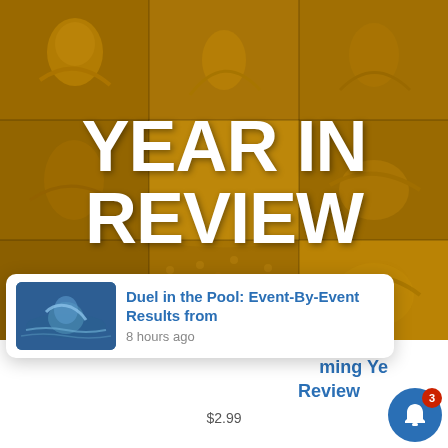[Figure (photo): Collage of swimming athletes with a golden/amber color overlay forming a 3x3 grid of photos from swimming competitions. The images show swimmers celebrating, swimming, and competing in pools.]
YEAR IN REVIEW
[Figure (screenshot): Notification card popup showing a thumbnail of a swimmer with blue-tinted photo, notification title 'Duel in the Pool: Event-By-Event Results from' in blue text, and timestamp '8 hours ago' in gray text.]
ming Ye
Review
$2.99